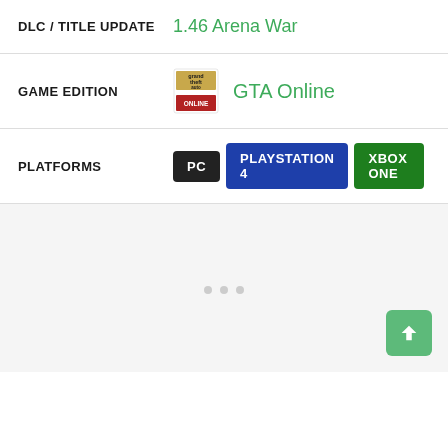| DLC / TITLE UPDATE | 1.46 Arena War |
| GAME EDITION | GTA Online |
| PLATFORMS | PC | PLAYSTATION 4 | XBOX ONE |
[Figure (other): Loading spinner area with three dots indicating content is loading, and a back-to-top button in the bottom right corner.]